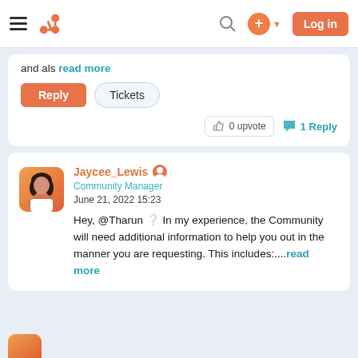[Figure (screenshot): HubSpot community forum navigation bar with hamburger menu, HubSpot sprocket logo, search icon, add button, and orange Log in button]
and als read more
Reply   Tickets
0 upvote   1 Reply
[Figure (photo): Avatar photo of Jaycee_Lewis, a woman with dark hair]
Jaycee_Lewis Community Manager June 21, 2022 15:23 Hey, @Tharun 🎉 In my experience, the Community will need additional information to help you out in the manner you are requesting. This includes:....read more